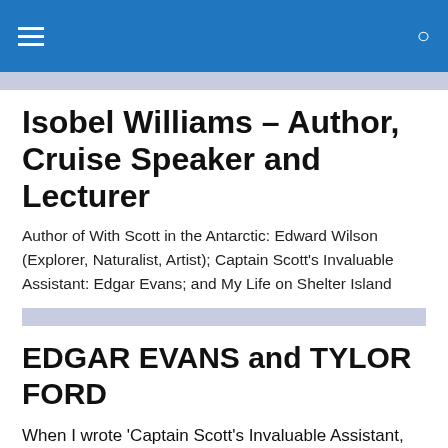Isobel Williams – Author, Cruise Speaker and Lecturer
Author of With Scott in the Antarctic: Edward Wilson (Explorer, Naturalist, Artist); Captain Scott's Invaluable Assistant: Edgar Evans; and My Life on Shelter Island
EDGAR EVANS and TYLOR FORD
When I wrote 'Captain Scott's Invaluable Assistant, Edgar Evans', I was very aware of the posthumous blame attributed to him in some quarters, for causing the deaths of the men of the Pole party.